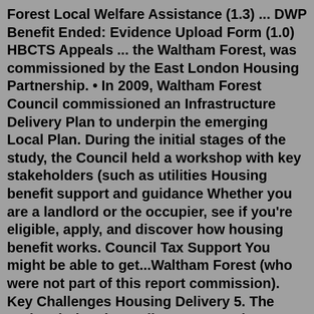Forest Local Welfare Assistance (1.3) ... DWP Benefit Ended: Evidence Upload Form (1.0) HBCTS Appeals ... the Waltham Forest, was commissioned by the East London Housing Partnership. • In 2009, Waltham Forest Council commissioned an Infrastructure Delivery Plan to underpin the emerging Local Plan. During the initial stages of the study, the Council held a workshop with key stakeholders (such as utilities Housing benefit support and guidance Whether you are a landlord or the occupier, see if you're eligible, apply, and discover how housing benefit works. Council Tax Support You might be able to get...Waltham Forest (who were not part of this report commission). Key Challenges Housing Delivery 5. The National Planning Policy Framework paragraph 47 aims to 'To boost significantly the supply of housing'. Nationally, new housing delivery nationally has fallen substantially in recent years relative to demand. 6.It replaces previous Housing Allocation Schemes, in respect of current and future applications, and takes effect from 4th Feb...